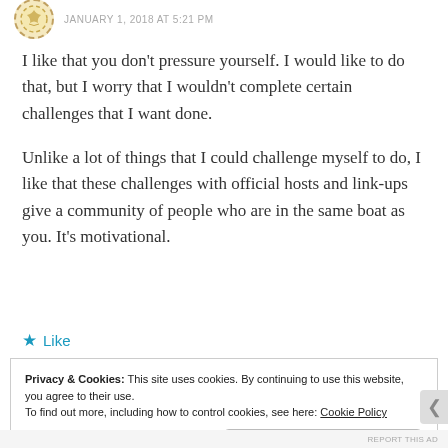JANUARY 1, 2018 AT 5:21 PM
I like that you don't pressure yourself. I would like to do that, but I worry that I wouldn't complete certain challenges that I want done.
Unlike a lot of things that I could challenge myself to do, I like that these challenges with official hosts and link-ups give a community of people who are in the same boat as you. It's motivational.
★ Like
Privacy & Cookies: This site uses cookies. By continuing to use this website, you agree to their use.
To find out more, including how to control cookies, see here: Cookie Policy
Close and accept